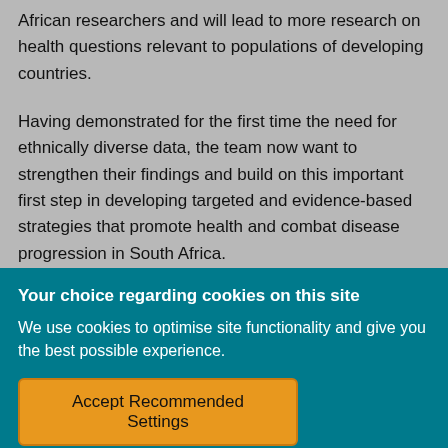African researchers and will lead to more research on health questions relevant to populations of developing countries.
Having demonstrated for the first time the need for ethnically diverse data, the team now want to strengthen their findings and build on this important first step in developing targeted and evidence-based strategies that promote health and combat disease progression in South Africa.
Your choice regarding cookies on this site
We use cookies to optimise site functionality and give you the best possible experience.
Accept Recommended Settings